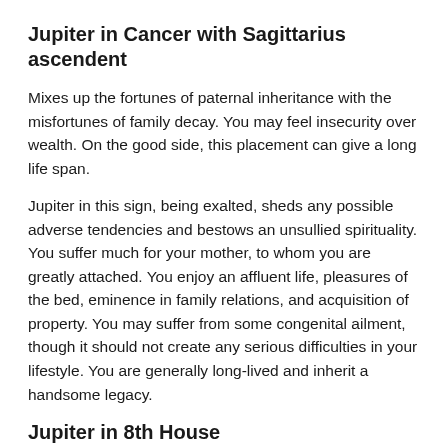Jupiter in Cancer with Sagittarius ascendent
Mixes up the fortunes of paternal inheritance with the misfortunes of family decay. You may feel insecurity over wealth. On the good side, this placement can give a long life span.
Jupiter in this sign, being exalted, sheds any possible adverse tendencies and bestows an unsullied spirituality. You suffer much for your mother, to whom you are greatly attached. You enjoy an affluent life, pleasures of the bed, eminence in family relations, and acquisition of property. You may suffer from some congenital ailment, though it should not create any serious difficulties in your lifestyle. You are generally long-lived and inherit a handsome legacy.
Jupiter in 8th House
Jupiter in this position operates like a filter which permits past religious impulses to manifest only in terms of traditional beliefs to come...